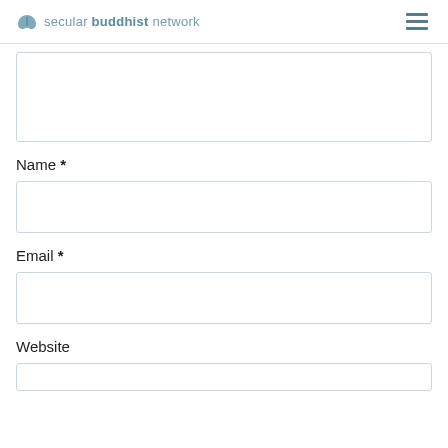secular buddhist network
[Figure (other): Text area input box (partially visible at top, empty)]
Name *
[Figure (other): Name input field box (empty)]
Email *
[Figure (other): Email input field box (empty)]
Website
[Figure (other): Website input field box (partially visible, empty)]